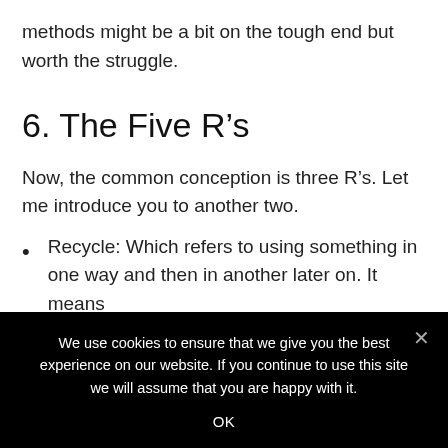methods might be a bit on the tough end but worth the struggle.
6. The Five R’s
Now, the common conception is three R’s. Let me introduce you to another two.
Recycle: Which refers to using something in one way and then in another later on. It means
We use cookies to ensure that we give you the best experience on our website. If you continue to use this site we will assume that you are happy with it.
OK